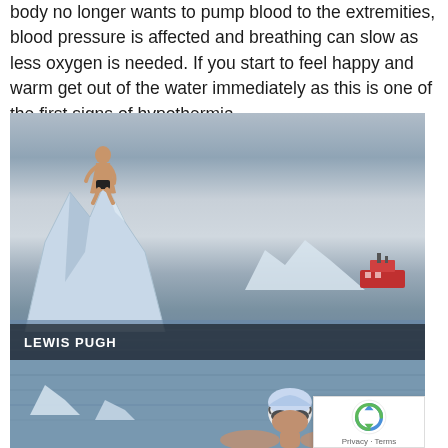body no longer wants to pump blood to the extremities, blood pressure is affected and breathing can slow as less oxygen is needed. If you start to feel happy and warm get out of the water immediately as this is one of the first signs of hypothermia.
[Figure (photo): A person in swim trunks crouching on top of a large iceberg in arctic waters, with mountains and a red ship visible in the background. A label 'LEWIS PUGH' appears in the lower left corner.]
[Figure (photo): A swimmer in a white swim cap and goggles swimming among icebergs in arctic waters, with a reCAPTCHA badge visible in the bottom right.]